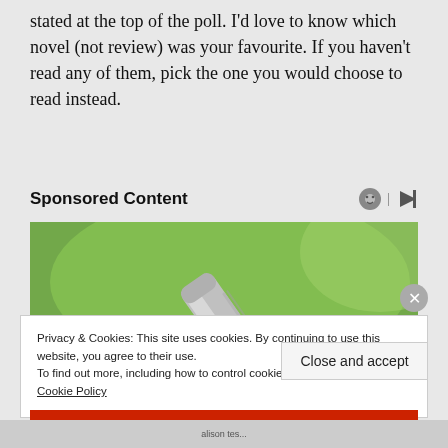stated at the top of the poll. I’d love to know which novel (not review) was your favourite. If you haven’t read any of them, pick the one you would choose to read instead.
Sponsored Content
[Figure (photo): Close-up photo of a hand holding a lancet pen device near a finger, with a green background]
Privacy & Cookies: This site uses cookies. By continuing to use this website, you agree to their use.
To find out more, including how to control cookies, see here:
Cookie Policy
Close and accept